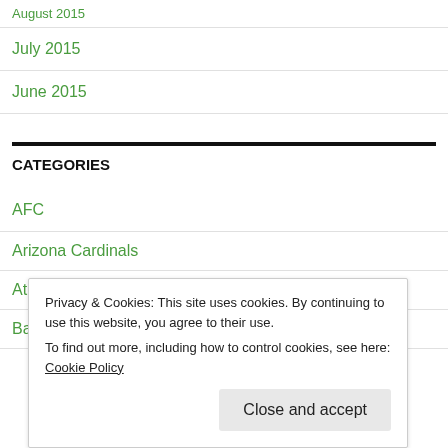August 2015
July 2015
June 2015
CATEGORIES
AFC
Arizona Cardinals
Atlanta Falcons
Baltimore Ravens
Privacy & Cookies: This site uses cookies. By continuing to use this website, you agree to their use. To find out more, including how to control cookies, see here: Cookie Policy
Close and accept